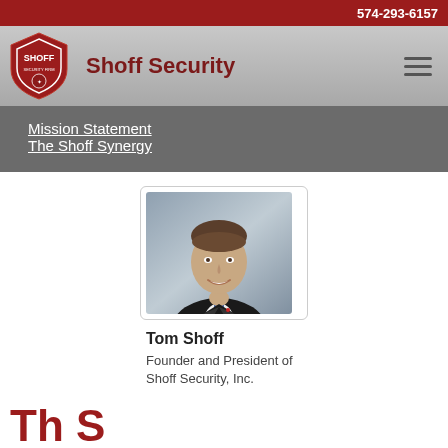574-293-6157
Shoff Security
Mission Statement
The Shoff Synergy
[Figure (photo): Professional headshot of Tom Shoff, a man in a dark suit with a striped tie, smiling, against a gray background]
Tom Shoff
Founder and President of Shoff Security, Inc.
Th S